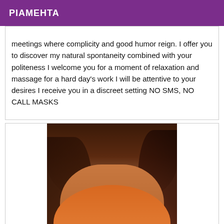PIAMEHTA
meetings where complicity and good humor reign. I offer you to discover my natural spontaneity combined with your politeness I welcome you for a moment of relaxation and massage for a hard day's work I will be attentive to your desires I receive you in a discreet setting NO SMS, NO CALL MASKS
[Figure (photo): Photo of a woman wearing an orange bikini top, with long dark hair, photographed from neck/shoulders down]